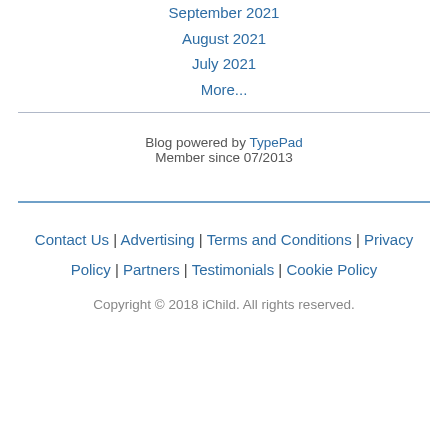September 2021
August 2021
July 2021
More...
Blog powered by TypePad
Member since 07/2013
Contact Us | Advertising | Terms and Conditions | Privacy Policy | Partners | Testimonials | Cookie Policy
Copyright © 2018 iChild. All rights reserved.